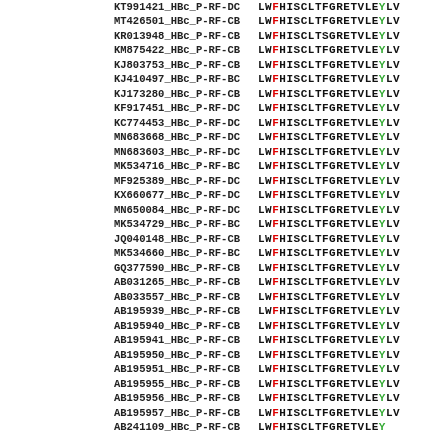KT991421_HBc_P-RF-DC   LWFHISCLTFGRETVLEYLV
MT426501_HBc_P-RF-CB   LWFHISCLTFGRETVLEYLV
KR013948_HBc_P-RF-CB   LWFHISCLTSGRETVLEYLV
KM875422_HBc_P-RF-CB   LWFHISCLTFGRETVLEYLV
KJ803753_HBc_P-RF-CB   LWFHISCLTFGRETVLEYLV
KJ410497_HBc_P-RF-BC   LWFHISCLTFGRETVLEYLV
KJ173280_HBc_P-RF-CB   LWFHISCLTFGRETVLEYLV
KF917451_HBc_P-RF-DC   LWFHISCLTFGRETVLEYLV
KC774453_HBc_P-RF-DC   LWFHISCLTFGRETVLEYLV
MN683668_HBc_P-RF-DC   LWFHISCLTFGRETVLEYLV
MN683603_HBc_P-RF-DC   LWFHISCLTFGRETVLEYLV
MK534716_HBc_P-RF-BC   LWFHISCLTFGRETVLEYLV
MF925389_HBc_P-RF-DC   LWFHISCLTFGRETVLEYLV
KX660677_HBc_P-RF-DC   LWFHISCLTFGRETVLEYLV
MN650084_HBc_P-RF-DC   LWFHISCLTFGRETVLEYLV
MK534729_HBc_P-RF-BC   LWFHISCLTFGRETVLEYLV
JQ040148_HBc_P-RF-CB   LWFHISCLTFGRETVLEYLV
MK534660_HBc_P-RF-BC   LWFHISCLTFGRETVLEYLV
GQ377590_HBc_P-RF-CB   LWFHISCLTFGRETVLEYLV
AB031265_HBc_P-RF-CB   LWFHISCLTFGRETVLEYLV
AB033557_HBc_P-RF-CB   LWFHISCLTFGRETVLEYLV
AB195939_HBc_P-RF-CB   LWFHISCLTFGRETVLEYLV
AB195940_HBc_P-RF-CB   LWFHISCLTFGRETVLEYLV
AB195941_HBc_P-RF-CB   LWFHISCLTFGRETVLEYLV
AB195950_HBc_P-RF-CB   LWFHISCLTFGRETVLEYLV
AB195951_HBc_P-RF-CB   LWFHISCLTFGRETVLEYLV
AB195955_HBc_P-RF-CB   LWFHISCLTFGRETVLEYLV
AB195956_HBc_P-RF-CB   LWFHISCLTFGRETVLEYLV
AB195957_HBc_P-RF-CB   LWFHISCLTFGRETVLEYLV
AB241109_HBc_P-RF-CB   LWFHISCLTGRETVLEY